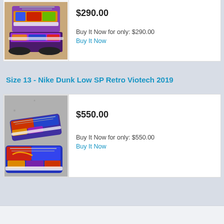[Figure (photo): Colorful Nike Dunk Low SP sneakers (purple, orange, blue, green) displayed with box]
$290.00
Buy It Now for only: $290.00
Buy It Now
Size 13 - Nike Dunk Low SP Retro Viotech 2019
[Figure (photo): Colorful Nike Dunk Low SP Viotech sneakers (blue, red, purple, orange) on granite surface]
$550.00
Buy It Now for only: $550.00
Buy It Now